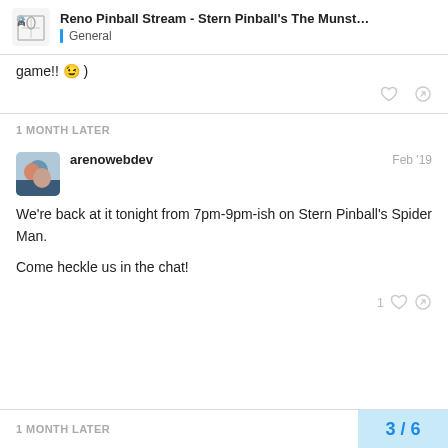Reno Pinball Stream - Stern Pinball's The Munst... | General
game!! 😉 )
1 MONTH LATER
arenowebdev  Feb '19
We're back at it tonight from 7pm-9pm-ish on Stern Pinball's Spider Man.

Come heckle us in the chat!
1 MONTH LATER
3 / 6